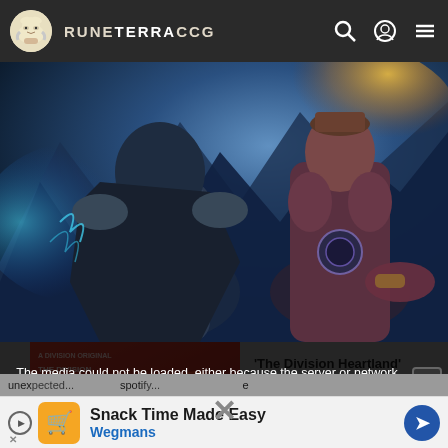RUNE TERRA CCG
[Figure (illustration): Fantasy game art showing two large armored fantasy characters against a blue icy mountain background]
[Figure (screenshot): Thumbnail of The Division Heartland game cover on red background]
'The Division Heartland' appears on Ubisoft store before being taken...
The media could not be loaded, either because the server or network failed or because the format is not supported.
Snack Time Made Easy
Wegmans